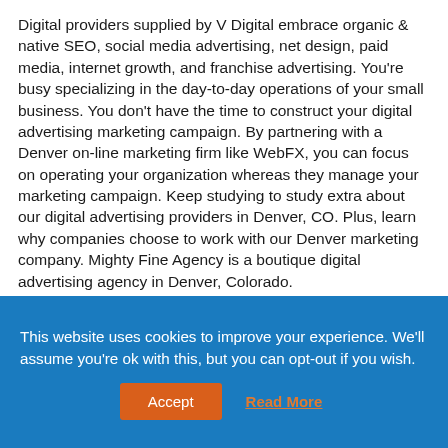Digital providers supplied by V Digital embrace organic & native SEO, social media advertising, net design, paid media, internet growth, and franchise advertising. You're busy specializing in the day-to-day operations of your small business. You don't have the time to construct your digital advertising marketing campaign. By partnering with a Denver on-line marketing firm like WebFX, you can focus on operating your organization whereas they manage your marketing campaign. Keep studying to study extra about our digital advertising providers in Denver, CO. Plus, learn why companies choose to work with our Denver marketing company. Mighty Fine Agency is a boutique digital advertising agency in Denver, Colorado.
A new and different kind of online marketing conference in #Denver – Great Speakers! #onlinemarketing
This website uses cookies to improve your experience. We'll assume you're ok with this, but you can opt-out if you wish.